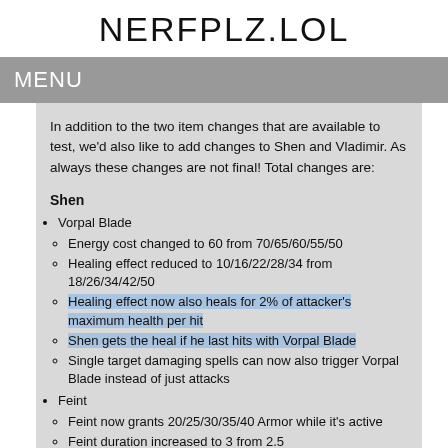NERFPLZ.LOL
MENU
In addition to the two item changes that are available to test, we'd also like to add changes to Shen and Vladimir. As always these changes are not final! Total changes are:
Shen
Vorpal Blade
Energy cost changed to 60 from 70/65/60/55/50
Healing effect reduced to 10/16/22/28/34 from 18/26/34/42/50
Healing effect now also heals for 2% of attacker's maximum health per hit
Shen gets the heal if he last hits with Vorpal Blade
Single target damaging spells can now also trigger Vorpal Blade instead of just attacks
Feint
Feint now grants 20/25/30/35/40 Armor while it's active
Feint duration increased to 3 from 2.5
Cost increased to 50 from 45
Shadow Dash
Cooldown changed to 11-9 from 10
Energy cost reduced to 100 from 120-100
Taunt Duration increased to 1/1.3/1.6/1.9/2.2 from 1/1.25/1.5/1.75/2
Restores 40 Energy per champion affected, from 50